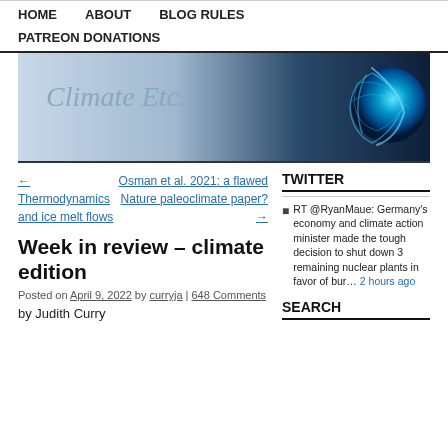HOME   ABOUT   BLOG RULES   PATREON DONATIONS
[Figure (illustration): Climate Etc. blog banner with title text and blue energy globe graphic]
← Thermodynamics and ice melt flows
Osman et al. 2021: a flawed Nature paleoclimate paper? →
Week in review – climate edition
Posted on April 9, 2022 by curryja | 648 Comments
by Judith Curry
TWITTER
RT @RyanMaue: Germany's economy and climate action minister made the tough decision to shut down 3 remaining nuclear plants in favor of bur… 2 hours ago
SEARCH